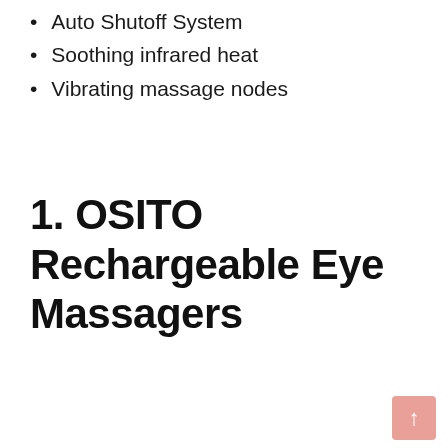Auto Shutoff System
Soothing infrared heat
Vibrating massage nodes
1. OSITO Rechargeable Eye Massagers